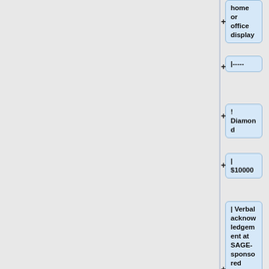home or office display
|-----
! Diamond
| $10000
| Verbal acknowledgement at SAGE-sponsored events
|-----
|}
* *Specific level benefits are inclusive of benefits for all previous levels